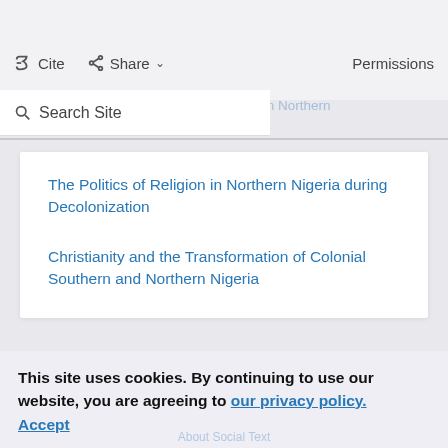Islam and Christianity in the Making of Modern Nigeria
Cite  Share  Permissions
Search Site  Islam and Colonial Rule in Northern Nigeria
The Politics of Religion in Northern Nigeria during Decolonization
Christianity and the Transformation of Colonial Southern and Northern Nigeria
This site uses cookies. By continuing to use our website, you are agreeing to our privacy policy. Accept
About Social Text